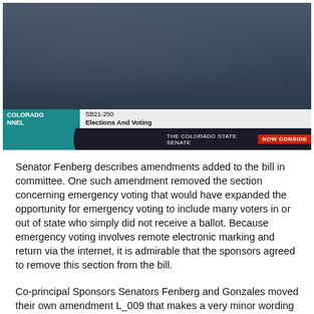[Figure (screenshot): Screenshot of Colorado Channel video stream showing SB21-250 Elections And Voting being considered by The Colorado State Senate. Lower third graphics show teal Colorado Channel branding, bill number and title in white bar, dark bar with senate name and red 'NOW CONSIDERED' tag.]
Senator Fenberg describes amendments added to the bill in committee. One such amendment removed the section concerning emergency voting that would have expanded the opportunity for emergency voting to include many voters in or out of state who simply did not receive a ballot. Because emergency voting involves remote electronic marking and return via the internet, it is admirable that the sponsors agreed to remove this section from the bill.
Co-principal Sponsors Senators Fenberg and Gonzales moved their own amendment L_009 that makes a very minor wording change to the bill.